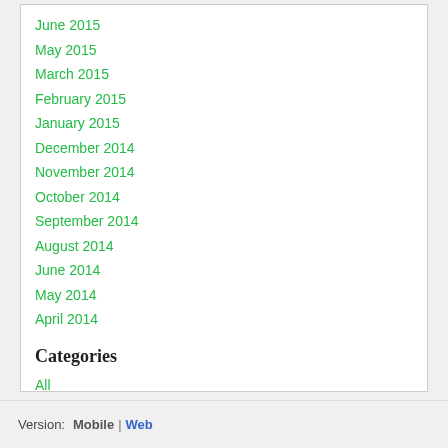June 2015
May 2015
March 2015
February 2015
January 2015
December 2014
November 2014
October 2014
September 2014
August 2014
June 2014
May 2014
April 2014
Categories
All
BOOKS
RSS Feed
Version:  Mobile | Web